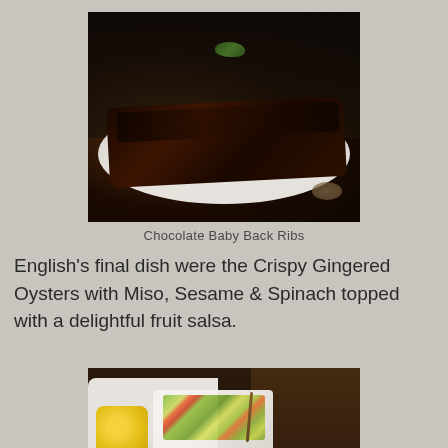[Figure (photo): Photo of Chocolate Baby Back Ribs on a white plate, dark glazed ribs with green garnish, restaurant setting]
Chocolate Baby Back Ribs
English's final dish were the Crispy Gingered Oysters with Miso, Sesame & Spinach topped with a delightful fruit salsa.
[Figure (photo): Photo of Crispy Gingered Oysters with fruit salsa on a white plate, with a small cup of yellow sauce, restaurant setting with wood table]